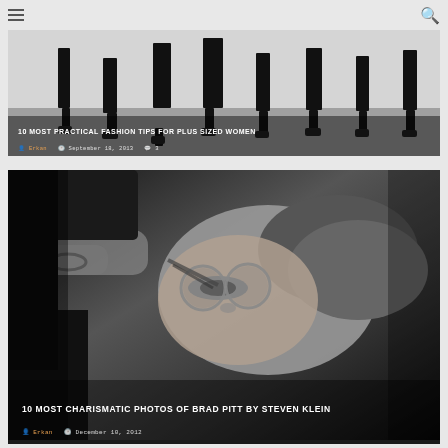≡ [menu] [search]
[Figure (photo): Photo of women's legs in black outfits and heels lined up, fashion editorial style]
10 MOST PRACTICAL FASHION TIPS FOR PLUS SIZED WOMEN
Erkan  September 18, 2013  3
[Figure (photo): Black and white artistic photo of Brad Pitt lying down, shot by Steven Klein, face reflected through glasses]
10 MOST CHARISMATIC PHOTOS OF BRAD PITT BY STEVEN KLEIN
Erkan  December 10, 2012